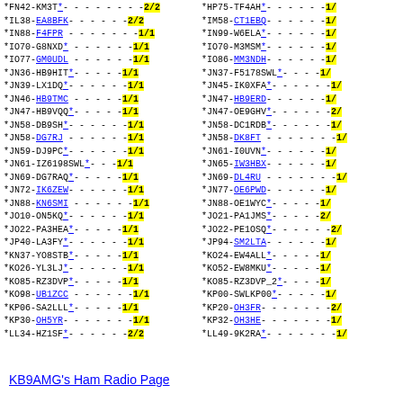*FN42-KM3T*--------2/2   *HP75-TF4AH*-------1/
*IL38-EA8BFK-------2/2   *IM58-CT1EBQ--------1/
*IN88-F4FPR--------1/1   *IN99-W6ELA*--------1/
*IO70-G8NXD*-------1/1   *IO70-M3MSM*--------1/
*IO77-GM0UDL-------1/1   *IO86-MM3NDH--------1/
*JN36-HB9HIT*------1/1   *JN37-F5178SWL*-----1/
*JN39-LX1DQ*-------1/1   *JN45-IK0XFA*-------1/
*JN46-HB9TMC-------1/1   *JN47-HB9ERD--------1/
*JN47-HB9VQQ*------1/1   *JN47-OE9GHV*-------2/
*JN58-DB9SH*-------1/1   *JN58-DC1RDB*-------1/
*JN58-DG7RJ--------1/1   *JN58-DK8FT---------1/
*JN59-DJ9PC*-------1/1   *JN61-I0UVN*--------1/
*JN61-IZ6198SWL*---1/1   *JN65-IW3HBX--------1/
*JN69-DG7RAQ*------1/1   *JN69-DL4RU---------1/
*JN72-IK6ZEW-------1/1   *JN77-OE6PWD--------1/
*JN88-KN6SMI-------1/1   *JN88-OE1WYC*-------1/
*JO10-ON5KQ*-------1/1   *JO21-PA1JMS*-------2/
*JO22-PA3HEA*------1/1   *JO22-PE1OSQ*-------2/
*JP40-LA3FY*-------1/1   *JP94-SM2LTA--------1/
*KN37-YO8STB*------1/1   *KO24-EW4ALL*-------1/
*KO26-YL3LJ*-------1/1   *KO52-EW8MKU*-------1/
*KO85-RZ3DVP*------1/1   *KO85-RZ3DVP_2*-----1/
*KO98-UB1ZCC-------1/1   *KP00-SWLKP00*------1/
*KP06-SA2LLL*------1/1   *KP20-OH3FR---------2/
*KP30-OH5YR--------1/1   *KP32-OH3HE---------1/
*LL34-HZ1SF*-------2/2   *LL49-9K2RA*--------1/
KB9AMG's Ham Radio Page